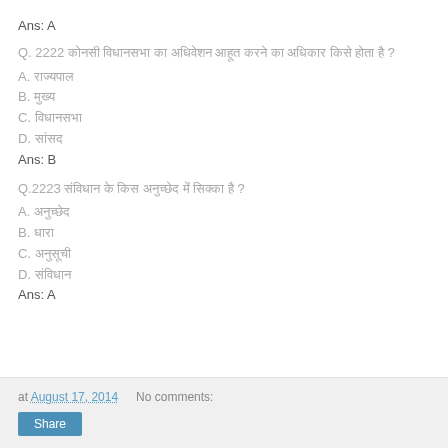Ans: A
Q. 2222 [Hindi text] ?
A. [Hindi text]
B. [Hindi text]
C. [Hindi text]
D. [Hindi text]
Ans: B
Q.2223 [Hindi text] ?
A. [Hindi text]
B. [Hindi text]
C. [Hindi text]
D. [Hindi text]
Ans: A
at August 17, 2014   No comments:   Share